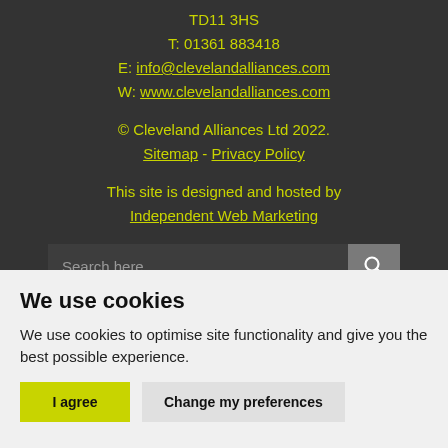TD11 3HS
T: 01361 883418
E: info@clevelandalliances.com
W: www.clevelandalliances.com
© Cleveland Alliances Ltd 2022.
Sitemap - Privacy Policy
This site is designed and hosted by Independent Web Marketing
Search here...
HOME | ABOUT |
PRECISION FARMING & GOLF |
We use cookies
We use cookies to optimise site functionality and give you the best possible experience.
I agree  Change my preferences